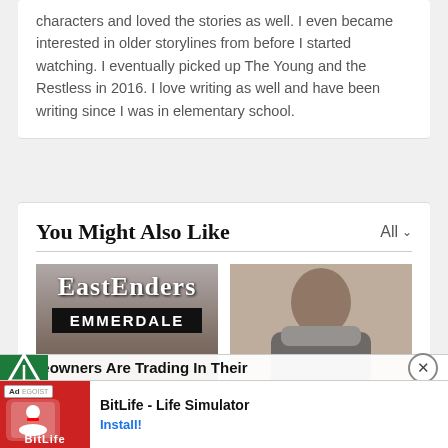characters and loved the stories as well. I even became interested in older storylines from before I started watching. I eventually picked up The Young and the Restless in 2016. I love writing as well and have been writing since I was in elementary school.
You Might Also Like
[Figure (photo): EastEnders and Emmerdale TV show logos/signs collaged together]
[Figure (photo): Young person with dark hair wearing a fur-trimmed jacket]
Homeowners Are Trading In Their
BitLife - Life Simulator
Install!